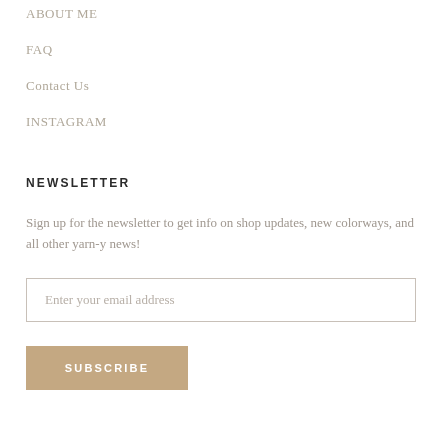ABOUT ME
FAQ
Contact Us
INSTAGRAM
NEWSLETTER
Sign up for the newsletter to get info on shop updates, new colorways, and all other yarn-y news!
Enter your email address
SUBSCRIBE